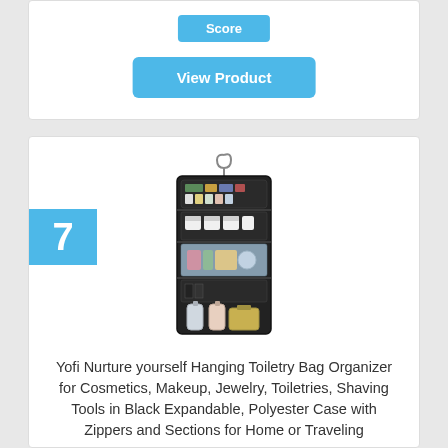Score
View Product
7
[Figure (photo): Yofi hanging toiletry bag organizer open and hanging, showing multiple compartments filled with toiletries, cosmetics and bottles]
Yofi Nurture yourself Hanging Toiletry Bag Organizer for Cosmetics, Makeup, Jewelry, Toiletries, Shaving Tools in Black Expandable, Polyester Case with Zippers and Sections for Home or Traveling
7.9
Score